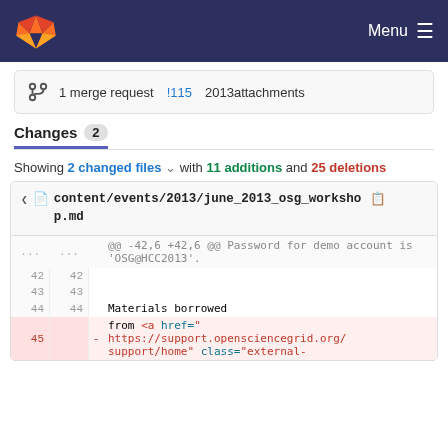Menu
1 merge request !115 2013attachments
Changes 2
Showing 2 changed files with 11 additions and 25 deletions
content/events/2013/june_2013_osg_workshop.md
| old | new | op | code |
| --- | --- | --- | --- |
| ... | ... |  | @@ -42,6 +42,6 @@ Password for demo account is 'OSG@HCC2013'. |
| 42 | 42 |  |  |
| 43 | 43 |  |  |
| 44 | 44 |  | Materials borrowed |
| 45 |  | - | from <a href="https://support.opensciencegrid.org/support/home" class="external- |